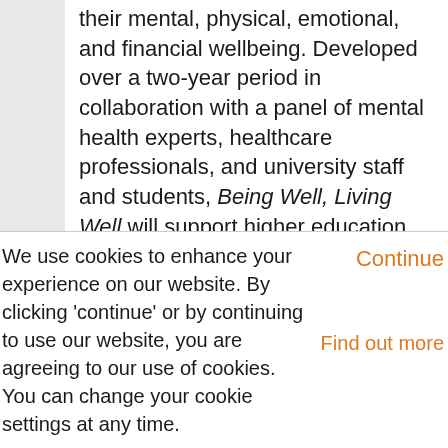their mental, physical, emotional, and financial wellbeing. Developed over a two-year period in collaboration with a panel of mental health experts, healthcare professionals, and university staff and students, Being Well, Living Well will support higher education institutions in taking a consistent, preventative approach to student wellbeing.
Epigeum's Director, Andy Ware, comments:
We use cookies to enhance your experience on our website. By clicking 'continue' or by continuing to use our website, you are agreeing to our use of cookies. You can change your cookie settings at any time.
Continue
Find out more